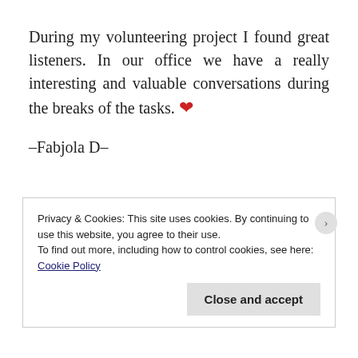During my volunteering project I found great listeners. In our office we have a really interesting and valuable conversations during the breaks of the tasks. ❤
–Fabjola D–
Privacy & Cookies: This site uses cookies. By continuing to use this website, you agree to their use.
To find out more, including how to control cookies, see here: Cookie Policy